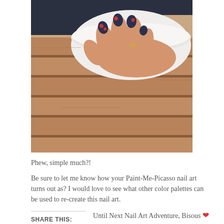[Figure (photo): A hand with painted nails (dark blue/red nail art) resting on a white bowl on a wooden slat table, photo cropped to show just the hand and table surface.]
Phew, simple much?!
Be sure to let me know how your Paint-Me-Picasso nail art turns out as? I would love to see what other color palettes can be used to re-create this nail art.
Until Next Nail Art Adventure, Bisous ❤
– PP
SHARE THIS: